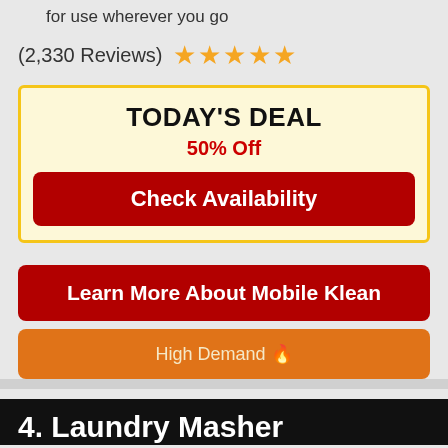for use wherever you go
(2,330 Reviews) ★★★★★
TODAY'S DEAL
50% Off
Check Availability
Learn More About Mobile Klean
High Demand 🔥
4. Laundry Masher